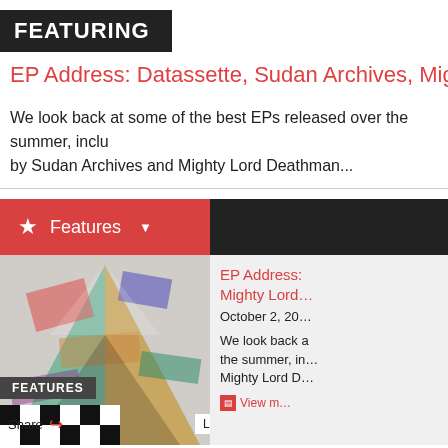FEATURING
EP Address: Datassette, Sudan Archives, Mighty Lord De…
We look back at some of the best EPs released over the summer, inclu… by Sudan Archives and Mighty Lord Deathman...
Features
[Figure (photo): Colorful abstract collage/artwork image with geometric patterns and vibrant colors, used as article thumbnail]
FEATURES
Share
Loa…
EP Address: Mighty Lord D…
October 2, 20…
We look back at the summer, in… Mighty Lord D…
View m…